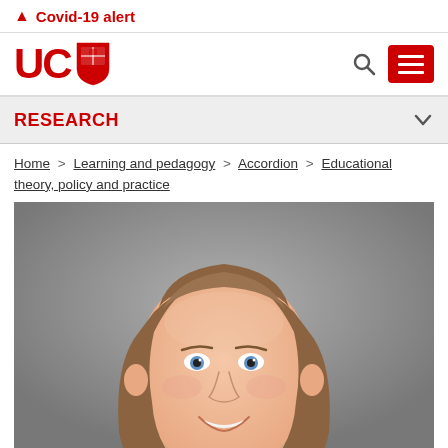⚠ Covid-19 alert
[Figure (logo): University of Canterbury (UC) logo with red shield crest]
RESEARCH
Home > Learning and pedagogy > Accordion > Educational theory, policy and practice
[Figure (photo): Headshot of a smiling woman with long brown hair and blue eyes against a grey background]